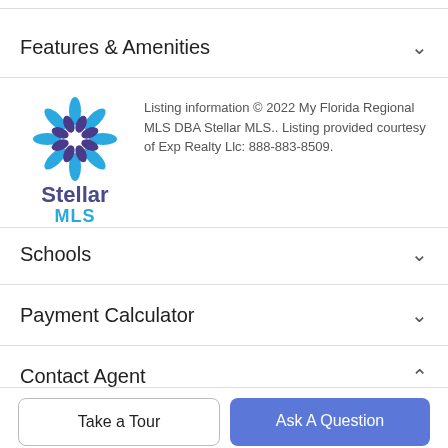Features & Amenities
Listing information © 2022 My Florida Regional MLS DBA Stellar MLS.. Listing provided courtesy of Exp Realty Llc: 888-883-8509.
Schools
Payment Calculator
Contact Agent
[Figure (photo): Circular agent headshot photo]
Take a Tour
Ask A Question